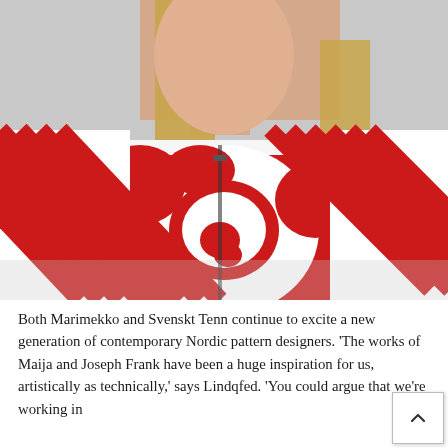[Figure (photo): A woman wearing a bold Marimekko-style sweater featuring large red and white Unikko (poppy) flower print on the body combined with red and white diagonal stripes on the sleeves, photographed against a light grey background.]
Both Marimekko and Svenskt Tenn continue to excite a new generation of contemporary Nordic pattern designers. 'The works of Maija and Joseph Frank have been a huge inspiration for us, artistically as technically,' says Lindqfed. 'You could argue that we're working in